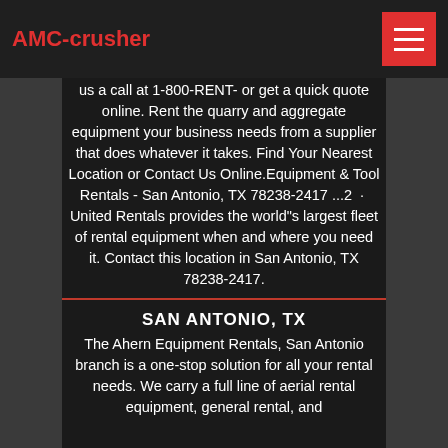AMC-crusher
us a call at 1-800-RENT- or get a quick quote online. Rent the quarry and aggregate equipment your business needs from a supplier that does whatever it takes. Find Your Nearest Location or Contact Us Online.Equipment & Tool Rentals - San Antonio, TX 78238-2417 ...2  ·  United Rentals provides the world"s largest fleet of rental equipment when and where you need it. Contact this location in San Antonio, TX 78238-2417.
SAN ANTONIO, TX
The Ahern Equipment Rentals, San Antonio branch is a one-stop solution for all your rental needs. We carry a full line of aerial rental equipment, general rental, and